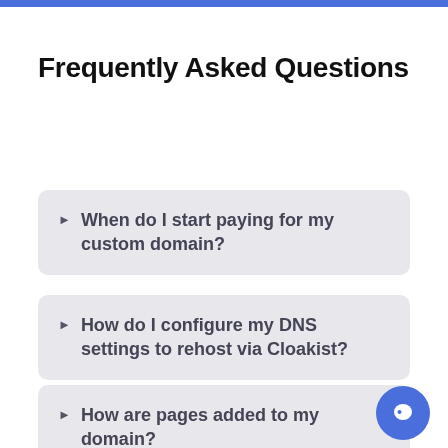Frequently Asked Questions
When do I start paying for my custom domain?
How do I configure my DNS settings to rehost via Cloakist?
How are pages added to my domain?